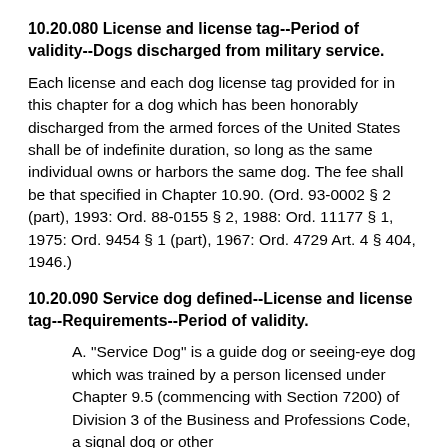10.20.080 License and license tag--Period of validity--Dogs discharged from military service.
Each license and each dog license tag provided for in this chapter for a dog which has been honorably discharged from the armed forces of the United States shall be of indefinite duration, so long as the same individual owns or harbors the same dog. The fee shall be that specified in Chapter 10.90. (Ord. 93-0002 § 2 (part), 1993: Ord. 88-0155 § 2, 1988: Ord. 11177 § 1, 1975: Ord. 9454 § 1 (part), 1967: Ord. 4729 Art. 4 § 404, 1946.)
10.20.090 Service dog defined--License and license tag--Requirements--Period of validity.
A. “Service Dog” is a guide dog or seeing-eye dog which was trained by a person licensed under Chapter 9.5 (commencing with Section 7200) of Division 3 of the Business and Professions Code, a signal dog or other